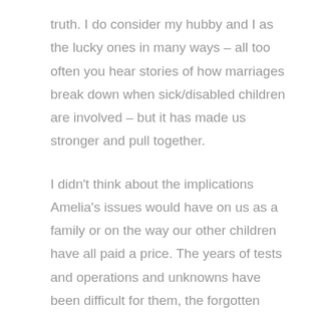truth. I do consider my hubby and I as the lucky ones in many ways – all too often you hear stories of how marriages break down when sick/disabled children are involved – but it has made us stronger and pull together.
I didn't think about the implications Amelia's issues would have on us as a family or on the way our other children have all paid a price. The years of tests and operations and unknowns have been difficult for them, the forgotten casualties in everyday life.
It has been very difficult too for our families and close friends who have supported us and cried with us in